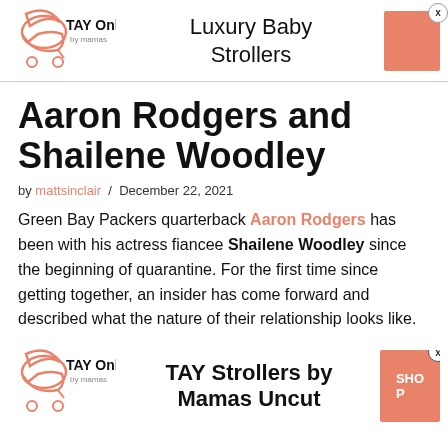[Figure (logo): TAY Online by mamas logo with baby stroller icon in orange, advertisement banner for Luxury Baby Strollers with salmon/orange button and X close button]
Aaron Rodgers and Shailene Woodley
by mattsinclair / December 22, 2021
Green Bay Packers quarterback Aaron Rodgers has been with his actress fiancee Shailene Woodley since the beginning of quarantine. For the first time since getting together, an insider has come forward and described what the nature of their relationship looks like.
[Figure (logo): TAY Online by mamas logo with baby stroller icon in orange, advertisement banner for TAY Strollers by Mamas Uncut with salmon/orange SHOP button and X close button]